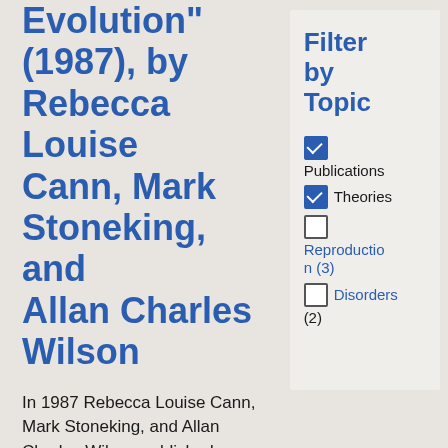Evolution" (1987), by Rebecca Louise Cann, Mark Stoneking, and Allan Charles Wilson
In 1987 Rebecca Louise Cann, Mark Stoneking, and Allan Charles Wilson published Mitochondrial DNA and Human Evolution in the journal Nature. The authors compared mitochondrial DNA from different human populations worldwide,
Filter by Topic
Publications (checked)
Theories (checked)
Reproduction (3)
Disorders (2)